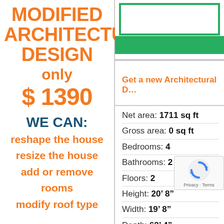MODIFIED ARCHITECTURAL DESIGN only $ 1390
WE CAN:
reshape the house
resize the house
add or remove rooms
modify roof type
[Figure (other): Green bordered rectangle and green solid bar — decorative graphic element]
Get a new Architectural D[esign]
| Net area: | 1711 sq ft |
| Gross area: | 0 sq ft |
| Bedrooms: | 4 |
| Bathrooms: | 2 |
| Floors: | 2 |
| Height: | 20’ 8” |
| Width: | 19’ 8” |
| Depth: | 62’ 4” |
| Cost to Build: | from $145 |